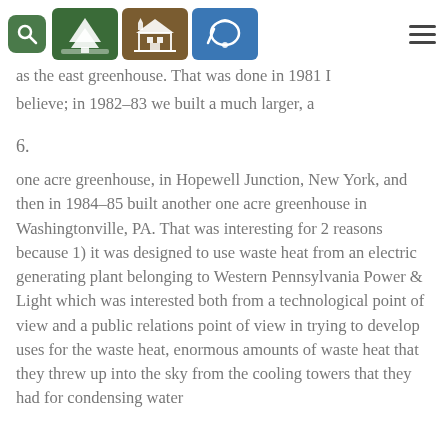[Figure (other): Navigation bar with search icon (green square), tree/landscape icon (dark green), building/house icon (brown), bell/crier icon (blue), and hamburger menu icon]
...are of gree... first always ...n to us as t... nd the second as the east greenhouse. That was done in 1981 I believe; in 1982-83 we built a much larger, a
6.
one acre greenhouse, in Hopewell Junction, New York, and then in 1984-85 built another one acre greenhouse in Washingtonville, PA. That was interesting for 2 reasons because 1) it was designed to use waste heat from an electric generating plant belonging to Western Pennsylvania Power & Light which was interested both from a technological point of view and a public relations point of view in trying to develop uses for the waste heat, enormous amounts of waste heat that they threw up into the sky from the cooling towers that they had for condensing water